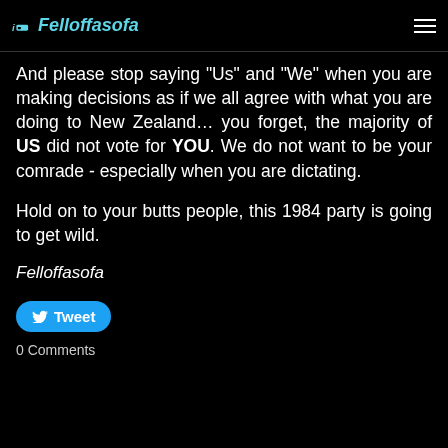Felloffasofa
And please stop saying "Us" and "We" when you are making decisions as if we all agree with what you are doing to New Zealand... you forget, the majority of US did not vote for YOU. We do not want to be your comrade - especially when you are dictating.
Hold on to your butts people, this 1984 party is going to get wild.
Felloffasofa
Tweet
0 Comments